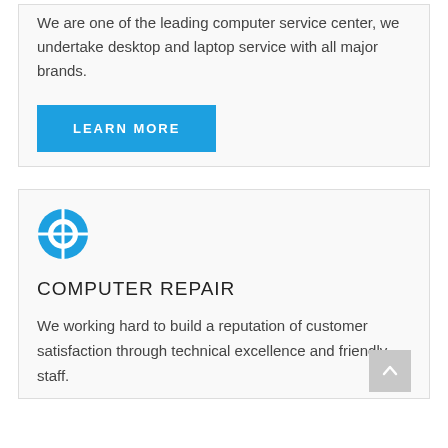We are one of the leading computer service center, we undertake desktop and laptop service with all major brands.
LEARN MORE
[Figure (illustration): Blue lifesaver / help ring icon]
COMPUTER REPAIR
We working hard to build a reputation of customer satisfaction through technical excellence and friendly staff.